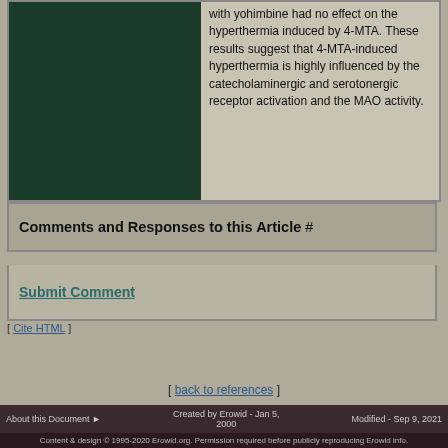with yohimbine had no effect on the hyperthermia induced by 4-MTA. These results suggest that 4-MTA-induced hyperthermia is highly influenced by the catecholaminergic and serotonergic receptor activation and the MAO activity.
Comments and Responses to this Article #
Submit Comment
[ Cite HTML ]
[ back to references ]
About this Document ▶   Created by Erowid - Jan 5, 2000   Modified - Sep 9, 2021
Content & design © 1995-2020 Erowid.org. Permission required before publicly reproducing Erowid info.